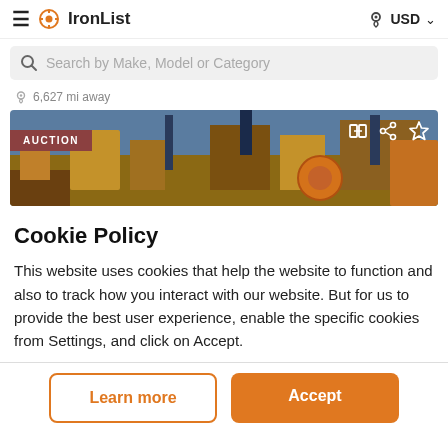IronList — USD
Search by Make, Model or Category
6,627 mi away
[Figure (photo): Auction listing image showing industrial equipment yard with yellow machinery, with AUCTION badge overlay and share/favorite icons]
Cookie Policy
This website uses cookies that help the website to function and also to track how you interact with our website. But for us to provide the best user experience, enable the specific cookies from Settings, and click on Accept.
Learn more
Accept